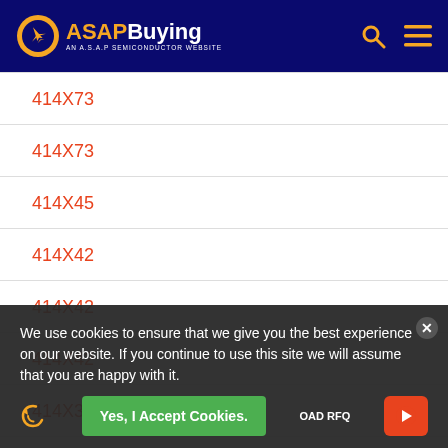[Figure (logo): ASAP Buying logo - orange plane icon with ASAP in orange and Buying in white text, subtitle AN A.S.A.P SEMICONDUCTOR WEBSITE]
414X73
414X73
414X45
414X42
414X42
414X42
414X35
414X20K
We use cookies to ensure that we give you the best experience on our website. If you continue to use this site we will assume that you are happy with it.
Yes, I Accept Cookies.